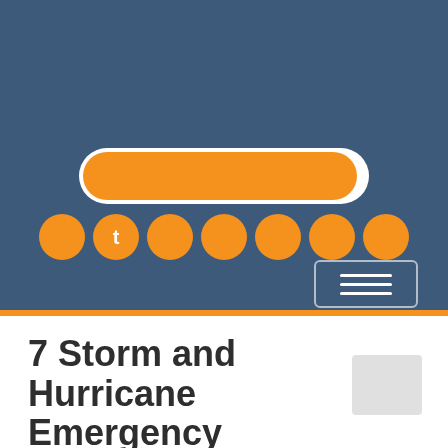[Figure (screenshot): Website header with dark blue background showing an orange pill-shaped search/input bar, a row of seven orange circles (one labeled 't'), and a hamburger menu button in the lower right corner. An orange horizontal strip separates the header from the content below.]
7 Storm and Hurricane Emergency Preparation Tips